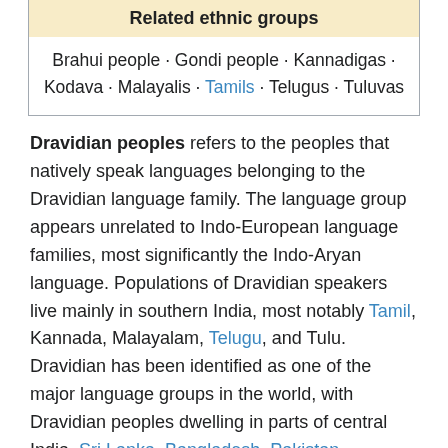| Related ethnic groups |
| --- |
| Brahui people · Gondi people · Kannadigas · Kodava · Malayalis · Tamils · Telugus · Tuluvas |
Dravidian peoples refers to the peoples that natively speak languages belonging to the Dravidian language family. The language group appears unrelated to Indo-European language families, most significantly the Indo-Aryan language. Populations of Dravidian speakers live mainly in southern India, most notably Tamil, Kannada, Malayalam, Telugu, and Tulu. Dravidian has been identified as one of the major language groups in the world, with Dravidian peoples dwelling in parts of central India, Sri Lanka, Bangladesh, Pakistan, Southwestern Iran, Southern Afghanistan, and Nepal.
The origins of the Dravidian people and language has been difficult to ascertain. Anthropologists are largely at odds. A number of earlier anthropologists held the view